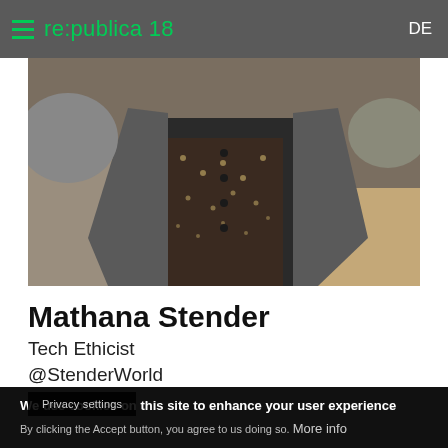re:publica 18   DE
[Figure (photo): Close-up photo of a person wearing a grey blazer over a dark floral shirt, outdoor rocky/sandy background]
Mathana Stender
Tech Ethicist
@StenderWorld
[Figure (screenshot): Blurred/greyscale interior room image, partially visible]
Privacy settings
We use cookies on this site to enhance your user experience
By clicking the Accept button, you agree to us doing so. More info